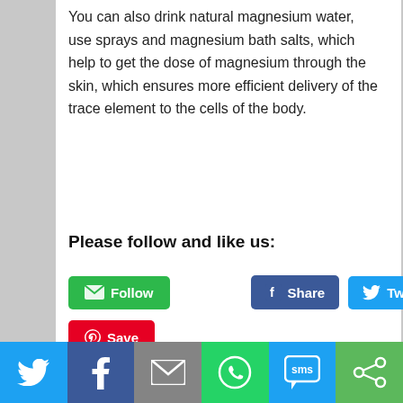You can also drink natural magnesium water, use sprays and magnesium bath salts, which help to get the dose of magnesium through the skin, which ensures more efficient delivery of the trace element to the cells of the body.
Please follow and like us:
[Figure (screenshot): Social media share buttons: green Follow button with envelope icon, blue Facebook Share button, light-blue Twitter Tweet button, red Pinterest Save button]
[Figure (screenshot): Bottom social sharing bar with icons for Twitter (blue), Facebook (dark blue), Email (grey), WhatsApp (green), SMS (blue), and More/share (green)]